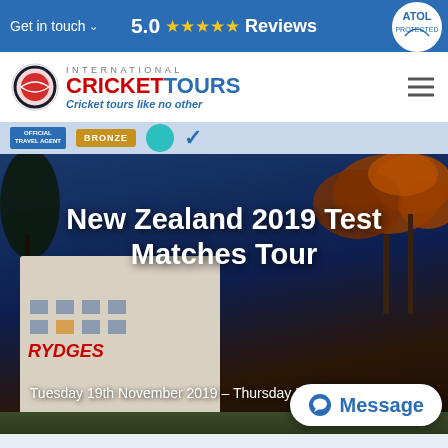Get in touch   5.0 ★★★★★ Reviews
[Figure (logo): International Cricket Tours logo with cricket ball icon, tagline: Cricket tours like no other]
[Figure (photo): Night photo of Rydges hotel building with autumn trees and blue sky]
New Zealand 2019 Test Matches Tour
Tuesday 19th November 2019 – Thursday 5th December 2019